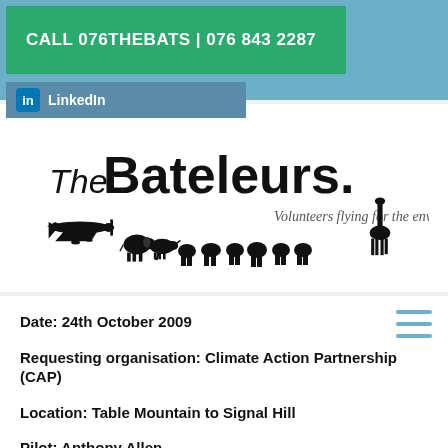CALL 076THEBATS | 076 843 2287
LinkedIn
[Figure (logo): The Bateleurs logo with text 'The Bateleurs. Volunteers flying for the environment', featuring silhouettes of a small airplane and African wildlife including elephants, rhinos, and a giraffe.]
Date: 24th October 2009
Requesting organisation: Climate Action Partnership (CAP)
Location: Table Mountain to Signal Hill
Pilot: Anthony Allen